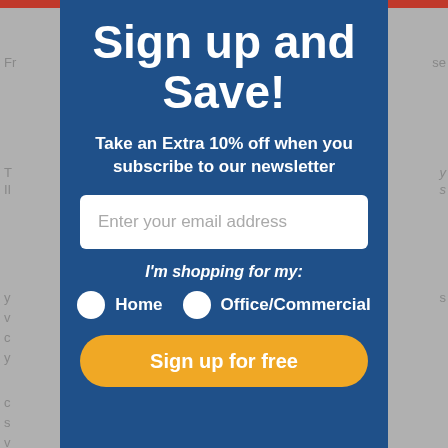Sign up and Save!
Take an Extra 10% off when you subscribe to our newsletter
Enter your email address
I'm shopping for my:
Home
Office/Commercial
Sign up for free